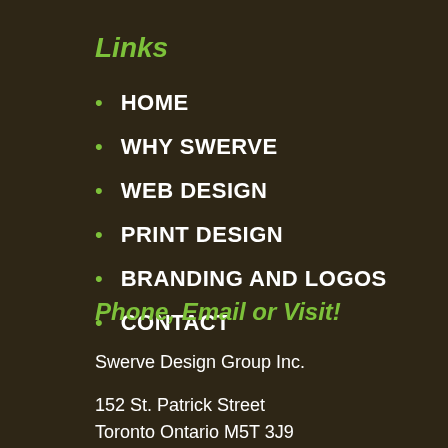Links
HOME
WHY SWERVE
WEB DESIGN
PRINT DESIGN
BRANDING AND LOGOS
CONTACT
Phone, Email or Visit!
Swerve Design Group Inc.
152 St. Patrick Street
Toronto Ontario M5T 3J9